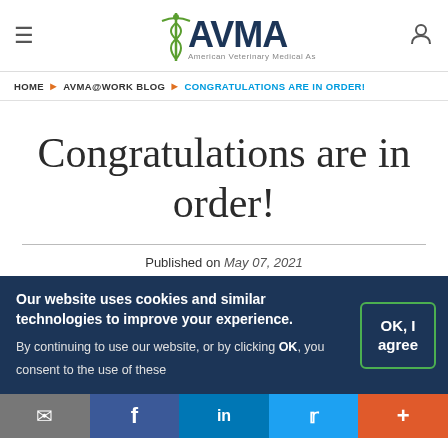AVMA — American Veterinary Medical Association
HOME ▶ AVMA@WORK BLOG ▶ CONGRATULATIONS ARE IN ORDER!
Congratulations are in order!
Published on May 07, 2021
Our website uses cookies and similar technologies to improve your experience. By continuing to use our website, or by clicking OK, you consent to the use of these
OK, I agree